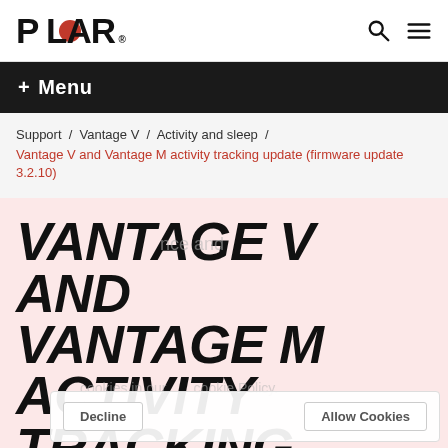POLAR
+ Menu
Support / Vantage V / Activity and sleep / Vantage V and Vantage M activity tracking update (firmware update 3.2.10)
VANTAGE V AND VANTAGE M ACTIVITY TRACKING UPDATE (FIRMWARE UPDATE 3.2.10)